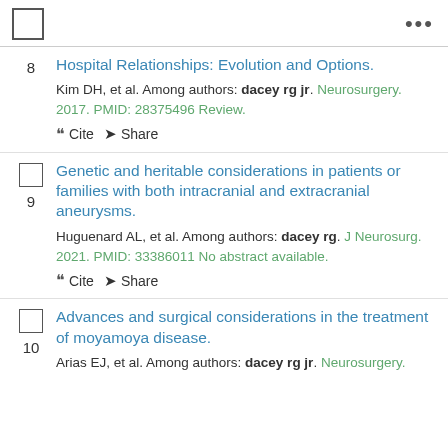8. Hospital Relationships: Evolution and Options. Kim DH, et al. Among authors: dacey rg jr. Neurosurgery. 2017. PMID: 28375496 Review.
9. Genetic and heritable considerations in patients or families with both intracranial and extracranial aneurysms. Huguenard AL, et al. Among authors: dacey rg. J Neurosurg. 2021. PMID: 33386011 No abstract available.
10. Advances and surgical considerations in the treatment of moyamoya disease. Arias EJ, et al. Among authors: dacey rg jr. Neurosurgery.